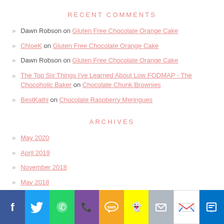RECENT COMMENTS
Dawn Robson on Gluten Free Chocolate Orange Cake
ChloeK on Gluten Free Chocolate Orange Cake
Dawn Robson on Gluten Free Chocolate Orange Cake
The Top Six Things I've Learned About Low FODMAP - The Chocoholic Baker on Chocolate Chunk Brownies
BestKathi on Chocolate Raspberry Meringues
ARCHIVES
May 2020
April 2019
November 2018
May 2018
[Figure (infographic): Social sharing bar with icons: Facebook, Twitter, WhatsApp, Phone, SMS, Snapchat, Email, Gmail, Outlook]